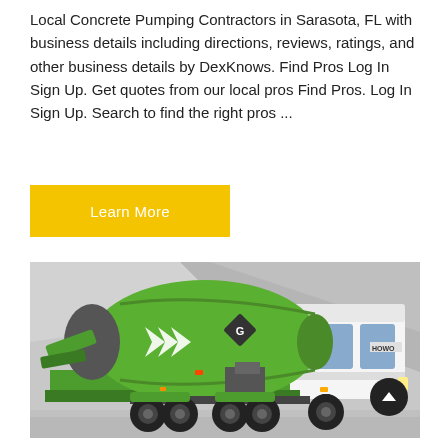Local Concrete Pumping Contractors in Sarasota, FL with business details including directions, reviews, ratings, and other business details by DexKnows. Find Pros Log In Sign Up. Get quotes from our local pros Find Pros. Log In Sign Up. Search to find the right pros ...
Learn More
[Figure (photo): A green and white HOWO concrete mixer truck parked against a concrete wall background. The mixer drum is green with white arrow chevron logos and a diamond logo. The truck has multiple rear axles.]